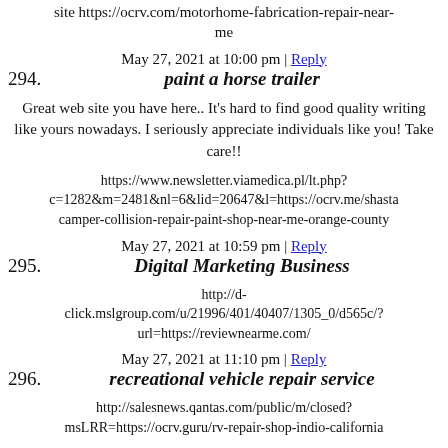site https://ocrv.com/motorhome-fabrication-repair-near-me
May 27, 2021 at 10:00 pm | Reply
294. paint a horse trailer
Great web site you have here.. It's hard to find good quality writing like yours nowadays. I seriously appreciate individuals like you! Take care!!
https://www.newsletter.viamedica.pl/lt.php?c=1282&m=2481&nl=6&lid=20647&l=https://ocrv.me/shasta camper-collision-repair-paint-shop-near-me-orange-county
May 27, 2021 at 10:59 pm | Reply
295. Digital Marketing Business
http://d-click.mslgroup.com/u/21996/401/40407/1305_0/d565c/?url=https://reviewnearme.com/
May 27, 2021 at 11:10 pm | Reply
296. recreational vehicle repair service
http://salesnews.qantas.com/public/m/closed?msLRR=https://ocrv.guru/rv-repair-shop-indio-california